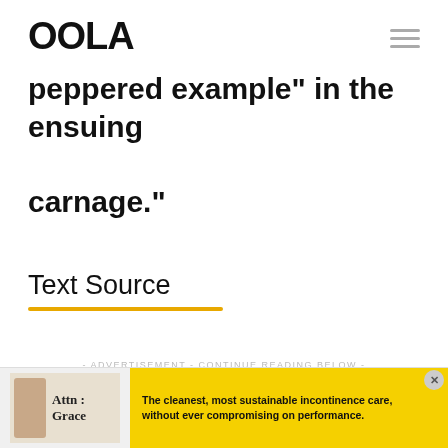OOLA
peppered example in the ensuing carnage."
Text Source
- ADVERTISEMENT - CONTINUE READING BELOW -
[Figure (other): Advertisement banner for Attn: Grace incontinence care product. Shows a person image on left, brand name 'Attn: Grace' in serif font, yellow background panel with text: 'The cleanest, most sustainable incontinence care, without ever compromising on performance.']